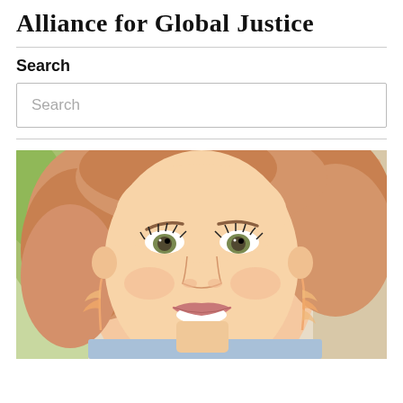Alliance for Global Justice
Search
Search
[Figure (photo): Close-up selfie photo of a smiling woman with blonde/strawberry hair, green-hazel eyes, wearing peach/coral feather earrings and light makeup. Background shows greenery and a decorative wall.]